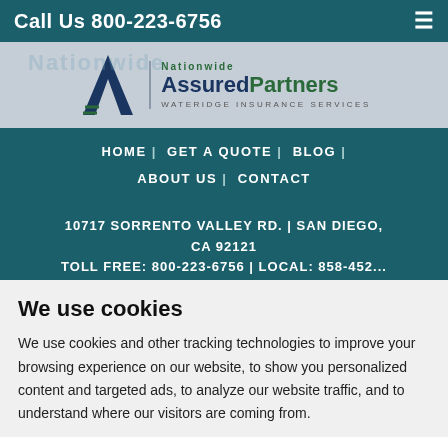Call Us 800-223-6756
[Figure (logo): AssuredPartners Wateridge Insurance Services logo with Nationwide branding and chevron mark]
HOME | GET A QUOTE | BLOG | ABOUT US | CONTACT
10717 SORRENTO VALLEY RD. | SAN DIEGO, CA 92121
TOLL FREE: 800-223-6756 | LOCAL: 858-452...
We use cookies
We use cookies and other tracking technologies to improve your browsing experience on our website, to show you personalized content and targeted ads, to analyze our website traffic, and to understand where our visitors are coming from.